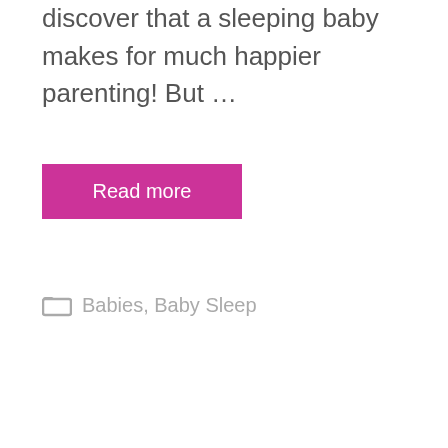discover that a sleeping baby makes for much happier parenting! But …
Read more
Babies, Baby Sleep